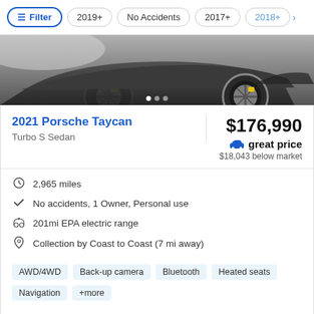Filter | 2019+ | No Accidents | 2017+ | 2018+
[Figure (photo): Cropped photo of a dark Porsche Taycan showing wheels and lower body, with carousel dots at the bottom]
2021 Porsche Taycan
Turbo S Sedan
$176,990
great price
$18,043 below market
2,965 miles
No accidents, 1 Owner, Personal use
201mi EPA electric range
Collection by Coast to Coast (7 mi away)
AWD/4WD | Back-up camera | Bluetooth | Heated seats | Navigation | +more